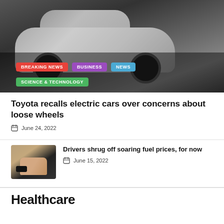[Figure (photo): White/silver SUV car at auto show, with category tags overlaid: BREAKING NEWS (red), BUSINESS (purple), NEWS (blue), SCIENCE & TECHNOLOGY (green)]
Toyota recalls electric cars over concerns about loose wheels
June 24, 2022
Drivers shrug off soaring fuel prices, for now
June 15, 2022
Healthcare